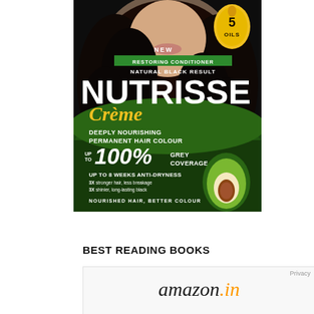[Figure (photo): Garnier Nutrisse Crème hair colour product box showing a woman with dark curly hair. Box text reads: NEW, RESTORING CONDITIONER, NATURAL BLACK RESULT, NUTRISSE Crème, DEEPLY NOURISHING PERMANENT HAIR COLOUR, UP TO 100% GREY COVERAGE, UP TO 8 WEEKS ANTI-DRYNESS, 3X stronger hair less breakage, 3X shinier long-lasting black, NOURISHED HAIR, BETTER COLOUR. Features 5 OILS badge and avocado image.]
BEST READING BOOKS
[Figure (screenshot): Amazon.in logo/screenshot with Privacy label in top right corner]